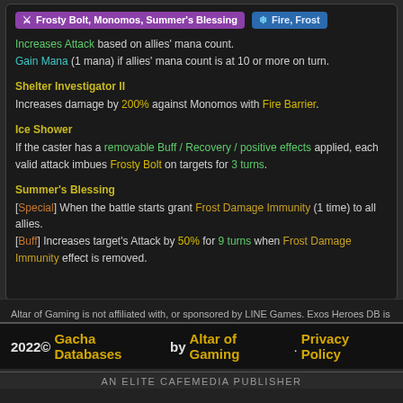Frosty Bolt, Monomos, Summer's Blessing | Fire, Frost
Increases Attack based on allies' mana count. Gain Mana (1 mana) if allies' mana count is at 10 or more on turn.
Shelter Investigator II
Increases damage by 200% against Monomos with Fire Barrier.
Ice Shower
If the caster has a removable Buff / Recovery / positive effects applied, each valid attack imbues Frosty Bolt on targets for 3 turns.
Summer's Blessing
[Special] When the battle starts grant Frost Damage Immunity (1 time) to all allies. [Buff] Increases target's Attack by 50% for 9 turns when Frost Damage Immunity effect is removed.
Altar of Gaming is not affiliated with, or sponsored by LINE Games. Exos Heroes DB is a Database for the Exos Heroes gacha game.
2022© Gacha Databases by Altar of Gaming. Privacy Policy
AN ELITE CAFEMEDIA PUBLISHER